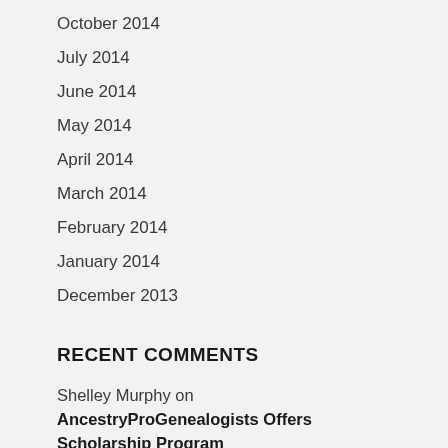October 2014
July 2014
June 2014
May 2014
April 2014
March 2014
February 2014
January 2014
December 2013
RECENT COMMENTS
Shelley Murphy on AncestryProGenealogists Offers Scholarship Program
Deb Cohen on FREE Social Media Webinar Series
Suzanne Johnston on FREE Social Media Webinar Series